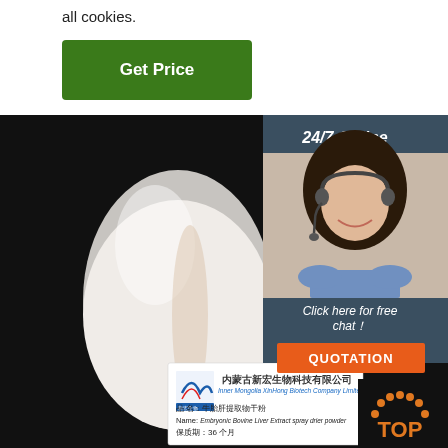all cookies.
[Figure (other): Green 'Get Price' button]
[Figure (photo): Product photo showing white powder in a bag/container with a product label from Inner Mongolia XinHong Biotech Company Limited. Label reads: 品名：牛胎肝提取物干粉, Name: Embryonic Bovine Liver Extract spray drier powder, 保质期：36个月. A '24/7 Online' customer service sidebar with a woman wearing a headset, and a 'Click here for free chat!' prompt with an orange QUOTATION button. A TOP badge in the bottom right corner.]